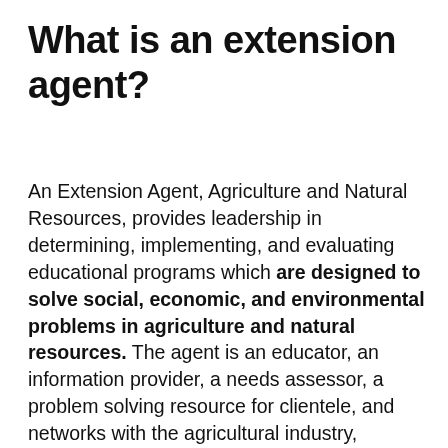What is an extension agent?
An Extension Agent, Agriculture and Natural Resources, provides leadership in determining, implementing, and evaluating educational programs which are designed to solve social, economic, and environmental problems in agriculture and natural resources. The agent is an educator, an information provider, a needs assessor, a problem solving resource for clientele, and networks with the agricultural industry, specialists, Extension agents and agency representatives.